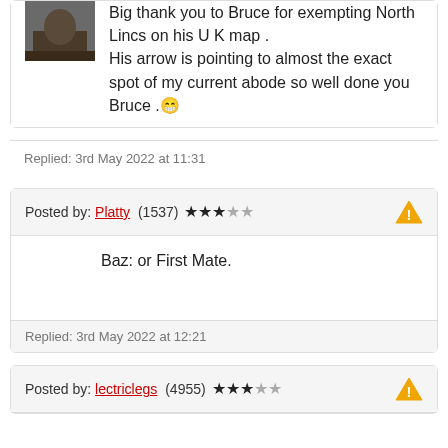Big thank you to Bruce for exempting North Lincs on his U K map . His arrow is pointing to almost the exact spot of my current abode so well done you Bruce . 😁
Replied: 3rd May 2022 at 11:31
Posted by: Platty (1537) ★★★☆☆
Baz: or First Mate.
Replied: 3rd May 2022 at 12:21
Posted by: lectriclegs (4955) ★★★½☆